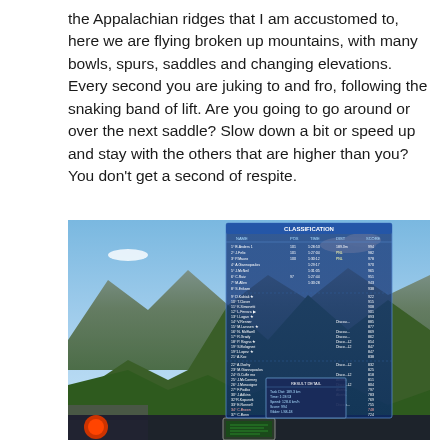the Appalachian ridges that I am accustomed to, here we are flying broken up mountains, with many bowls, spurs, saddles and changing elevations. Every second you are juking to and fro, following the snaking band of lift. Are you going to go around or over the next saddle? Slow down a bit or speed up and stay with the others that are higher than you? You don't get a second of respite.
[Figure (screenshot): Screenshot of a gliding simulator or flight software showing a cockpit view flying over mountainous terrain with green valleys and rocky peaks under a blue sky. Overlaid is a semi-transparent blue classification/results table showing pilot names, scores, and other competition data.]